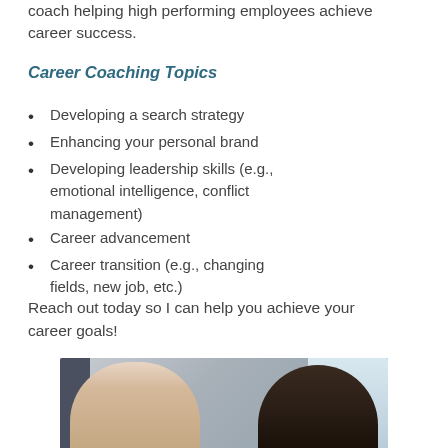coach helping high performing employees achieve career success.
Career Coaching Topics
Developing a search strategy
Enhancing your personal brand
Developing leadership skills (e.g., emotional intelligence, conflict management)
Career advancement
Career transition (e.g., changing fields, new job, etc.)
Reach out today so I can help you achieve your career goals!
[Figure (photo): Two women in a professional coaching or mentoring conversation, sitting near a window in an office setting.]